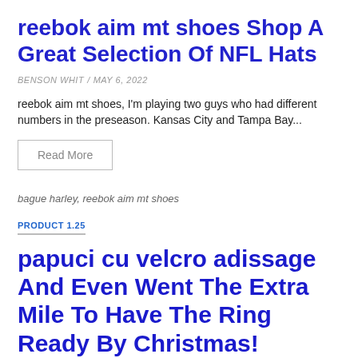reebok aim mt shoes Shop A Great Selection Of NFL Hats
BENSON WHIT  /  MAY 6, 2022
reebok aim mt shoes, I'm playing two guys who had different numbers in the preseason. Kansas City and Tampa Bay...
Read More
bague harley, reebok aim mt shoes
PRODUCT 1.25
papuci cu velcro adissage And Even Went The Extra Mile To Have The Ring Ready By Christmas!